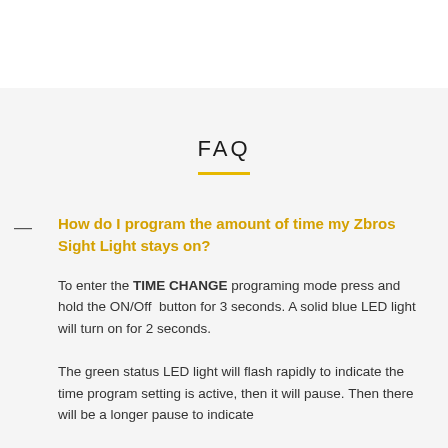FAQ
How do I program the amount of time my Zbros Sight Light stays on?
To enter the TIME CHANGE programing mode press and hold the ON/Off button for 3 seconds. A solid blue LED light will turn on for 2 seconds.
The green status LED light will flash rapidly to indicate the time program setting is active, then it will pause. Then there will be a longer pause to indicate